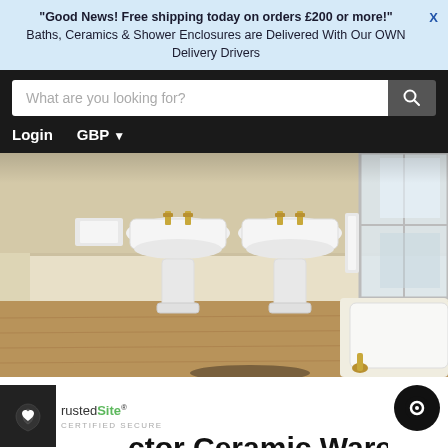"Good News! Free shipping today on orders £200 or more!"  X
Baths, Ceramics & Shower Enclosures are Delivered With Our OWN Delivery Drivers
[Figure (screenshot): E-commerce website search bar with 'What are you looking for?' placeholder text and search icon, on dark navbar background]
Login   GBP ▾
[Figure (photo): Bathroom interior with two white pedestal sinks with gold faucets, light wood floor, white wainscoting walls, and a white claw-foot bathtub with gold feet on the right]
[Figure (logo): TrustedSite Certified Secure badge with white heart icon on black square and green/grey text]
ctor Ceramic Ware